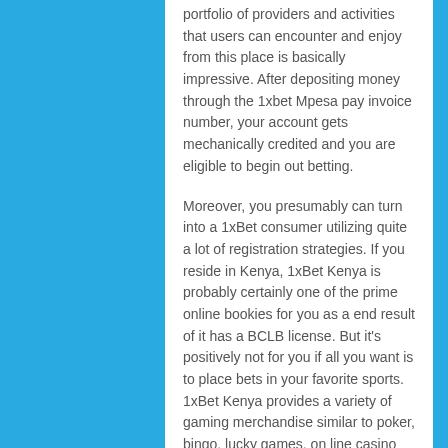portfolio of providers and activities that users can encounter and enjoy from this place is basically impressive. After depositing money through the 1xbet Mpesa pay invoice number, your account gets mechanically credited and you are eligible to begin out betting.
Moreover, you presumably can turn into a 1xBet consumer utilizing quite a lot of registration strategies. If you reside in Kenya, 1xBet Kenya is probably certainly one of the prime online bookies for you as a end result of it has a BCLB license. But it's positively not for you if all you want is to place bets in your favorite sports. 1xBet Kenya provides a variety of gaming merchandise similar to poker, bingo, lucky games, on line casino games, and others, which may